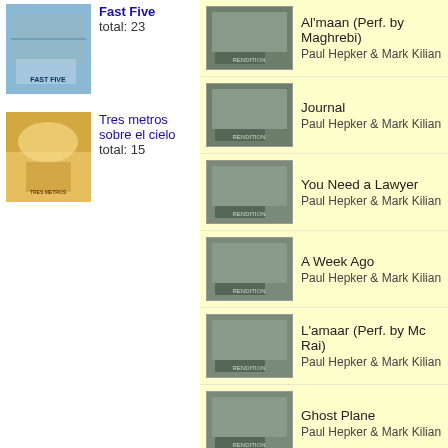[Figure (photo): Fast Five movie poster thumbnail]
Fast Five
total: 23
[Figure (photo): Tres metros sobre el cielo movie poster thumbnail]
Tres metros sobre el cielo
total: 15
[Figure (photo): Rendition soundtrack - Al'maan (Perf. by Maghrebi) track thumbnail]
Al'maan (Perf. by Maghrebi)
Paul Hepker & Mark Kilian
[Figure (photo): Rendition soundtrack - Journal track thumbnail]
Journal
Paul Hepker & Mark Kilian
[Figure (photo): Rendition soundtrack - You Need a Lawyer track thumbnail]
You Need a Lawyer
Paul Hepker & Mark Kilian
[Figure (photo): Rendition soundtrack - A Week Ago track thumbnail]
A Week Ago
Paul Hepker & Mark Kilian
[Figure (photo): Rendition soundtrack - L'amaar (Perf. by Mc Rai) track thumbnail]
L'amaar (Perf. by Mc Rai)
Paul Hepker & Mark Kilian
[Figure (photo): Rendition soundtrack - Ghost Plane track thumbnail]
Ghost Plane
Paul Hepker & Mark Kilian
[Figure (photo): Rendition soundtrack - Rendition for Strings track thumbnail]
Rendition for Strings
Paul Hepker & Mark Kilian
[Figure (photo): Rendition soundtrack - No Show track thumbnail]
No Show
Paul Hepker & Mark Kilian